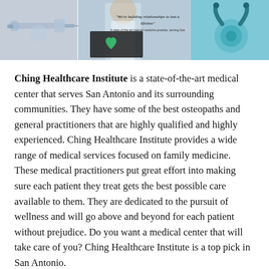[Figure (photo): Three-panel photo strip: left panel shows syringes/needles on a light background; center panel shows a doctor/medical professional in white coat with text overlay reading 'We're building relationships to last a lifetime' and a dark card with a green heart logo; right panel shows a teal stethoscope on a light background.]
Ching Healthcare Institute is a state-of-the-art medical center that serves San Antonio and its surrounding communities. They have some of the best osteopaths and general practitioners that are highly qualified and highly experienced. Ching Healthcare Institute provides a wide range of medical services focused on family medicine. These medical practitioners put great effort into making sure each patient they treat gets the best possible care available to them. They are dedicated to the pursuit of wellness and will go above and beyond for each patient without prejudice. Do you want a medical center that will take care of you? Ching Healthcare Institute is a top pick in San Antonio.